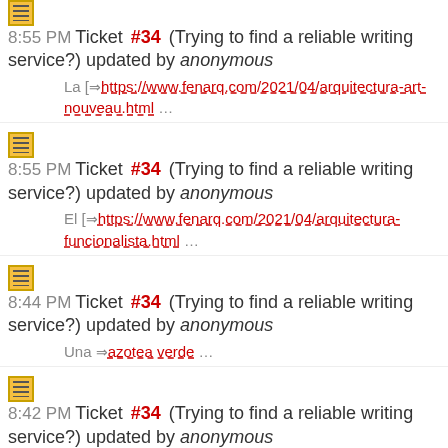8:55 PM Ticket #34 (Trying to find a reliable writing service?) updated by anonymous — La [→ https://www.fenarq.com/2021/04/arquitectura-art-nouveau.html …
8:55 PM Ticket #34 (Trying to find a reliable writing service?) updated by anonymous — El [→ https://www.fenarq.com/2021/04/arquitectura-funcionalista.html …
8:44 PM Ticket #34 (Trying to find a reliable writing service?) updated by anonymous — Una → azotea verde …
8:42 PM Ticket #34 (Trying to find a reliable writing service?) updated by anonymous — [→ https://www.fenarq.com/2021/04/medieval-architecture.html Medieval …
8:30 PM Ticket #34 (Trying to find a reliable writing service?) updated by anonymous — La [→ https://www.fenarq.com/2021/05/arquitectura-tolteca.html …
9:20 PM Ticket #34 (Trying to find a reliable writing service?) updated by anonymous